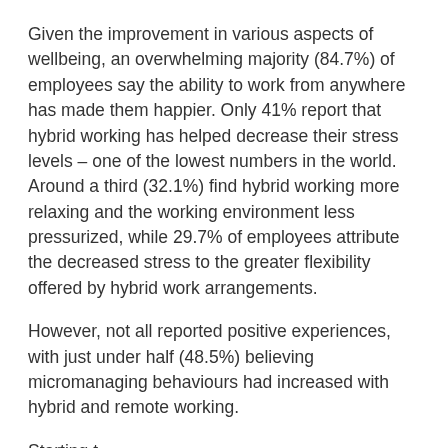Given the improvement in various aspects of wellbeing, an overwhelming majority (84.7%) of employees say the ability to work from anywhere has made them happier. Only 41% report that hybrid working has helped decrease their stress levels – one of the lowest numbers in the world.  Around a third (32.1%) find hybrid working more relaxing and the working environment less pressurized, while 29.7% of employees attribute the decreased stress to the greater flexibility offered by hybrid work arrangements.
However, not all reported positive experiences, with just under half (48.5%) believing micromanaging behaviours had increased with hybrid and remote working.
Starting text partially visible at bottom